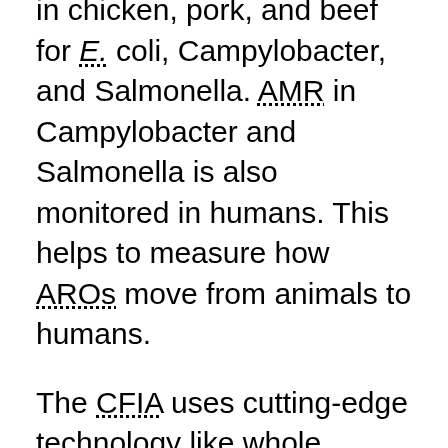in chicken, pork, and beef for E. coli, Campylobacter, and Salmonella. AMR in Campylobacter and Salmonella is also monitored in humans. This helps to measure how AROs move from animals to humans.
The CFIA uses cutting-edge technology like whole genome sequencing to analyze how resistant food-borne bacteria are to antimicrobial drugs. This technology allows scientists to look at the entire genetic structure of bacteria like E. coli or Listeria. This helps them see just how resistant certain strains are so that correction or